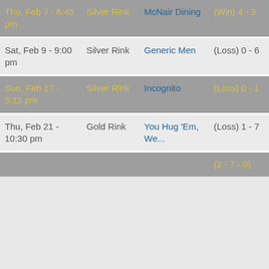| Date | Rink | Opponent | Result |  |  |
| --- | --- | --- | --- | --- | --- |
| Thu, Feb 7 - 6:45 pm | Silver Rink | McNair Dining | (Win) 4 - 3 | 0 | 0 |
| Sat, Feb 9 - 9:00 pm | Silver Rink | Generic Men | (Loss) 0 - 6 | 0 | 0 |
| Sun, Feb 17 - 5:15 pm | Silver Rink | Incognito | (Loss) 0 - 1 | 0 | 0 |
| Thu, Feb 21 - 10:30 pm | Gold Rink | You Hug 'Em, We... | (Loss) 1 - 7 | 0 | 0 |
|  |  |  | (2 - 7 - 0) | 0 | 0 |